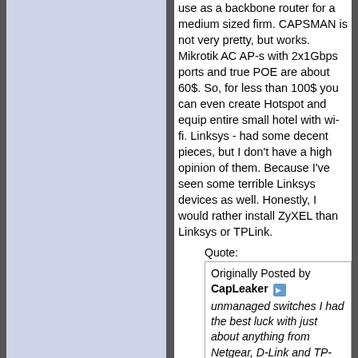use as a backbone router for a medium sized firm. CAPSMAN is not very pretty, but works. Mikrotik AC AP-s with 2x1Gbps ports and true POE are about 60$. So, for less than 100$ you can even create Hotspot and equip entire small hotel with wi-fi. Linksys - had some decent pieces, but I don't have a high opinion of them. Because I've seen some terrible Linksys devices as well. Honestly, I would rather install ZyXEL than Linksys or TPLink.
Quote:
Originally Posted by CapLeaker unmanaged switches I had the best luck with just about anything from Netgear, D-Link and TP-Link (where ever there was a deal on) in a metal box. Those survived the longest. Had a D...